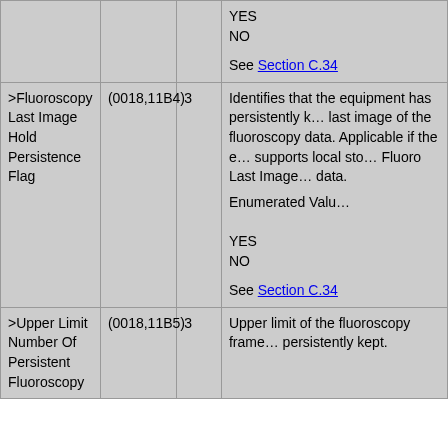|  |  |  | YES
NO

See Section C.34 |
| >Fluoroscopy Last Image Hold Persistence Flag | (0018,11B4) | 3 | Identifies that the equipment has persistently kept the last image of the fluoroscopy data. Applicable if the equipment supports local storage of Fluoro Last Image Hold data.

Enumerated Values:

YES
NO

See Section C.34 |
| >Upper Limit Number Of Persistent Fluoroscopy | (0018,11B5) | 3 | Upper limit of the number of fluoroscopy frames persistently kept. |